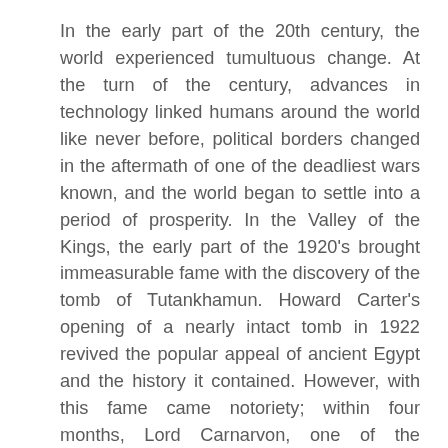In the early part of the 20th century, the world experienced tumultuous change. At the turn of the century, advances in technology linked humans around the world like never before, political borders changed in the aftermath of one of the deadliest wars known, and the world began to settle into a period of prosperity. In the Valley of the Kings, the early part of the 1920's brought immeasurable fame with the discovery of the tomb of Tutankhamun. Howard Carter's opening of a nearly intact tomb in 1922 revived the popular appeal of ancient Egypt and the history it contained. However, with this fame came notoriety; within four months, Lord Carnarvon, one of the benefactors of the excavations, passed away. News of his death instigated rumors and discussion of a possible curse on the tomb, and subsequent deaths of those involved in the project, whether explained or not, became fodder for curse enthusiasts. Popular depictions of ancient Egypt only added fuel to the fire, with